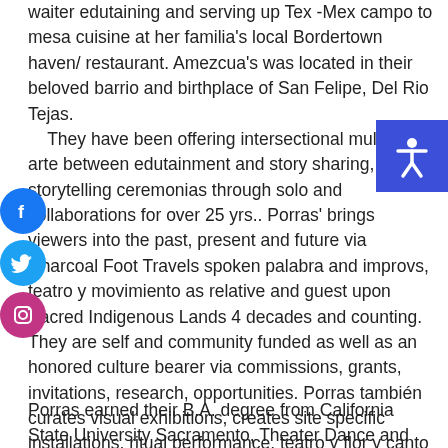waiter edutaining and serving up Tex -Mex campo to mesa cuisine at her familia's local Bordertown haven/ restaurant. Amezcua's was located in their beloved barrio and birthplace of San Felipe, Del Rio Tejas. They have been offering intersectional multimedia arte between edutainment and story sharing, storytelling ceremonias through solo and collaborations for over 25 yrs.. Porras' brings viewers into the past, present and future via Charcoal Foot Travels spoken palabra and improvs, teatro y movimiento as relative and guest upon Sacred Indigenous Lands 4 decades and counting. They are self and community funded as well as an honored culture bearer via commissions, grants, invitations, research, opportunities. Porras también curates visual exhibitions, creates site specific installations, ritual performance, teatro y flor y canto movimiento. Most recently Current Classy Broadway Curatorial Resident in Oak Park, Sacramento.
Porras earned their B.A. degree from California State University Sacramento, Theater Dance and Cultural